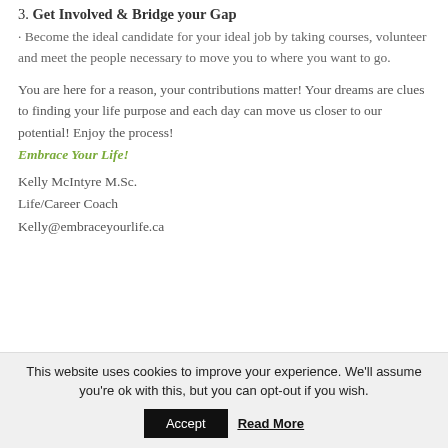3. Get Involved & Bridge your Gap
· Become the ideal candidate for your ideal job by taking courses, volunteer and meet the people necessary to move you to where you want to go.
You are here for a reason, your contributions matter! Your dreams are clues to finding your life purpose and each day can move us closer to our potential! Enjoy the process!
Embrace Your Life!
Kelly McIntyre M.Sc.
Life/Career Coach
Kelly@embraceyourlife.ca
This website uses cookies to improve your experience. We'll assume you're ok with this, but you can opt-out if you wish.
Accept   Read More